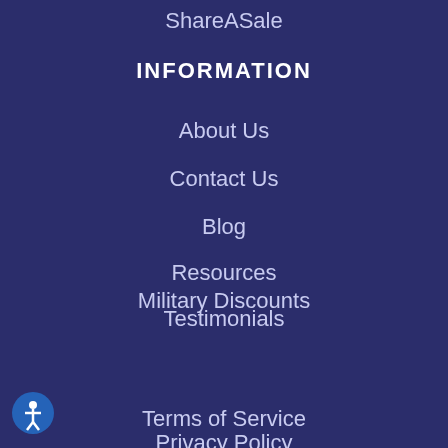ShareASale
INFORMATION
About Us
Contact Us
Blog
Resources
Testimonials
Military Discounts
24 PATRIOTS SHOPPED THIS X IN THE LAST 24 HOURS
Terms of Service
Privacy Policy